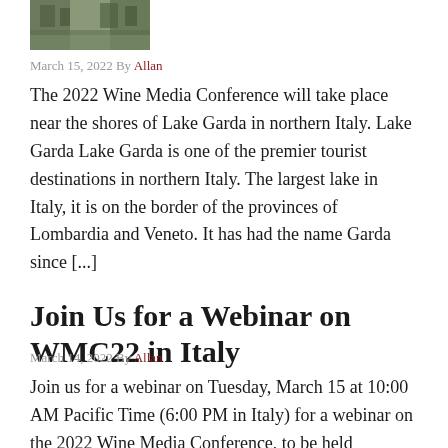[Figure (photo): Thumbnail image of Lake Garda area, showing landscape/scenery in muted green and brown tones]
March 15, 2022 By Allan
The 2022 Wine Media Conference will take place near the shores of Lake Garda in northern Italy. Lake Garda Lake Garda is one of the premier tourist destinations in northern Italy. The largest lake in Italy, it is on the border of the provinces of Lombardia and Veneto. It has had the name Garda since [...]
Join Us for a Webinar on WMC22 in Italy
March 14, 2022 By Allan
Join us for a webinar on Tuesday, March 15 at 10:00 AM Pacific Time (6:00 PM in Italy) for a webinar on the 2022 Wine Media Conference, to be held September 29 – October 1 at Lake Garda in the provinces of Lombardia in northern Italy. O…